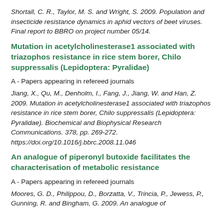Shortall, C. R., Taylor, M. S. and Wright, S. 2009. Population and insecticide resistance dynamics in aphid vectors of beet viruses. Final report to BBRO on project number 05/14.
Mutation in acetylcholinesterase1 associated with triazophos resistance in rice stem borer, Chilo suppressalis (Lepidoptera: Pyralidae)
A - Papers appearing in refereed journals
Jiang, X., Qu, M., Denholm, I., Fang, J., Jiang, W. and Han, Z. 2009. Mutation in acetylcholinesterase1 associated with triazophos resistance in rice stem borer, Chilo suppressalis (Lepidoptera: Pyralidae). Biochemical and Biophysical Research Communications. 378, pp. 269-272. https://doi.org/10.1016/j.bbrc.2008.11.046
An analogue of piperonyl butoxide facilitates the characterisation of metabolic resistance
A - Papers appearing in refereed journals
Moores, G. D., Philippou, D., Borzatta, V., Trincia, P., Jewess, P., Gunning, R. and Bingham, G. 2009. An analogue of